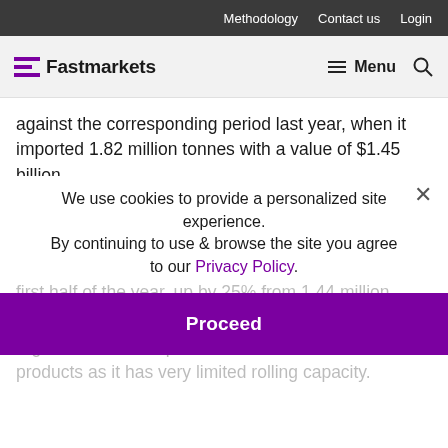Methodology  Contact us  Login
Fastmarkets  Menu
against the corresponding period last year, when it imported 1.82 million tonnes with a value of $1.45 billion.
Rebar and wire rod products made up the bulk of Algeria's steel imports. The north African nation
imported about 1.81 million tonnes of bar and rod the first half of the year, up by 25% from 1.44 million tonnes in the same period last year.
Algeria does not import billets or other semi-finished products as it has very limited rolling capacity.
We use cookies to provide a personalized site experience.
By continuing to use & browse the site you agree to our Privacy Policy.
Proceed
165,000 tonnes of angles and other sections; 42,000